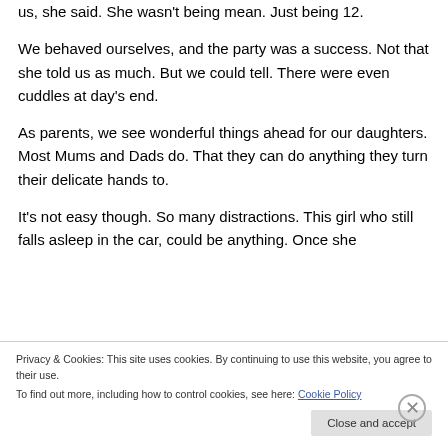us, she said. She wasn't being mean. Just being 12.
We behaved ourselves, and the party was a success. Not that she told us as much. But we could tell. There were even cuddles at day's end.
As parents, we see wonderful things ahead for our daughters. Most Mums and Dads do. That they can do anything they turn their delicate hands to.
It's not easy though. So many distractions. This girl who still falls asleep in the car, could be anything. Once she
Privacy & Cookies: This site uses cookies. By continuing to use this website, you agree to their use.
To find out more, including how to control cookies, see here: Cookie Policy
Close and accept